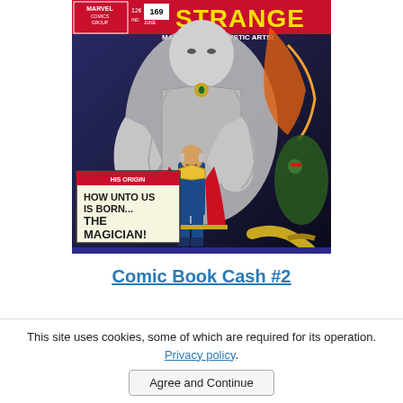[Figure (illustration): Cover of Doctor Strange Marvel Comics #169, June, 12 cents. Text reads 'STRANGE MASTER OF THE MYSTIC ARTS!' and 'HIS ORIGIN AT LAST! HOW UNTO US IS BORN... THE MAGICIAN!' Features a large looming gray figure of Doctor Strange above a smaller colorful Doctor Strange in blue suit and red cape, with mystical creatures surrounding him.]
Comic Book Cash #2
This site uses cookies, some of which are required for its operation. Privacy policy.